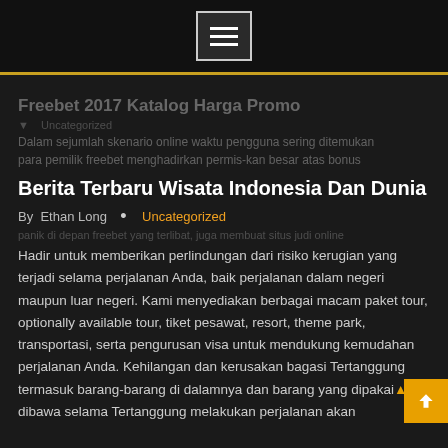[Figure (other): Navigation menu hamburger button in dark header bar]
Freebet 2017 Katalog Harga Promo
Dalam sejumlah skenario online waktu pengguna sering ditemukan para pemilik freebet menghadirkan permintaan besar atas bonus penarik minat bermain judi online atau apa yang biasa disebut freebet menjadi solusi terpopuler untuk menjadi salah satu situs judi ternama saat ini permainan domino.
Berita Terbaru Wisata Indonesia Dan Dunia
By  Ethan Long  •  Uncategorized
Hadir untuk memberikan perlindungan dari risiko kerugian yang terjadi selama perjalanan Anda, baik perjalanan dalam negeri maupun luar negeri. Kami menyediakan berbagai macam paket tour, optionally available tour, tiket pesawat, resort, theme park, transportasi, serta pengurusan visa untuk mendukung kemudahan perjalanan Anda. Kehilangan dan kerusakan bagasi Tertanggung termasuk barang-barang di dalamnya dan barang yang dipakai atau dibawa selama Tertanggung melakukan perjalanan akan